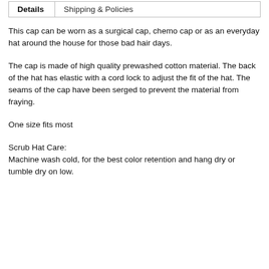Details | Shipping & Policies
This cap can be worn as a surgical cap, chemo cap or as an everyday hat around the house for those bad hair days.
The cap is made of high quality prewashed cotton material. The back of the hat has elastic with a cord lock to adjust the fit of the hat. The seams of the cap have been serged to prevent the material from fraying.
One size fits most
Scrub Hat Care:
Machine wash cold, for the best color retention and hang dry or tumble dry on low.